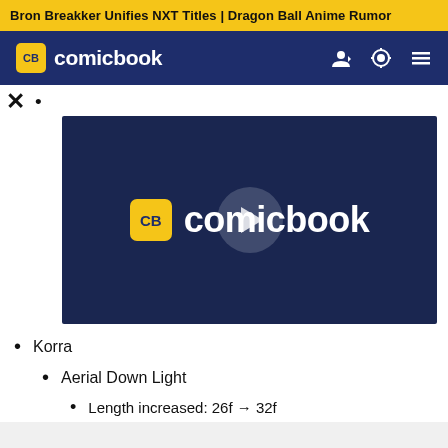Bron Breakker Unifies NXT Titles | Dragon Ball Anime Rumor
[Figure (logo): ComicBook.com navigation bar with CB logo, user icon, theme toggle, and menu icon on dark blue background]
[Figure (screenshot): Video player showing ComicBook.com logo on dark navy background with play button overlay]
Korra
Aerial Down Light
Length increased: 26f → 32f